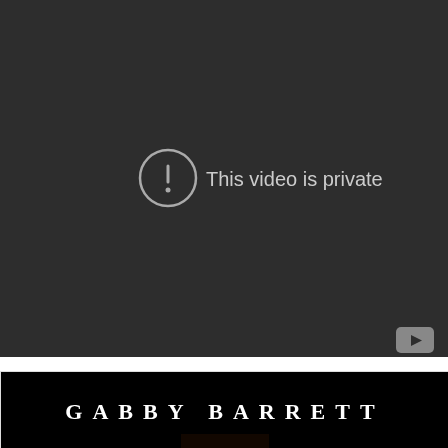[Figure (screenshot): A dark video player showing a 'This video is private' error message with a circle-exclamation icon on the left and a YouTube logo in the bottom-right corner.]
[Figure (screenshot): A black banner image showing the text 'GABBY BARRETT' in spaced white serif capital letters.]